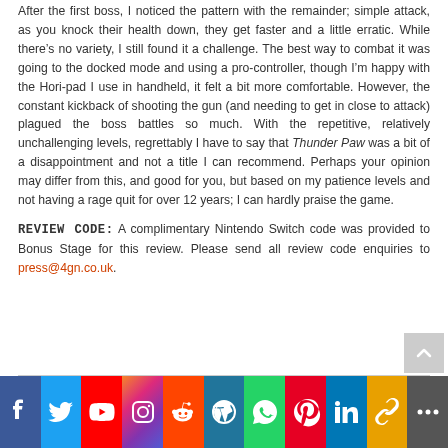After the first boss, I noticed the pattern with the remainder; simple attack, as you knock their health down, they get faster and a little erratic. While there's no variety, I still found it a challenge. The best way to combat it was going to the docked mode and using a pro-controller, though I'm happy with the Hori-pad I use in handheld, it felt a bit more comfortable. However, the constant kickback of shooting the gun (and needing to get in close to attack) plagued the boss battles so much. With the repetitive, relatively unchallenging levels, regrettably I have to say that Thunder Paw was a bit of a disappointment and not a title I can recommend. Perhaps your opinion may differ from this, and good for you, but based on my patience levels and not having a rage quit for over 12 years; I can hardly praise the game.
REVIEW CODE: A complimentary Nintendo Switch code was provided to Bonus Stage for this review. Please send all review code enquiries to press@4gn.co.uk.
[Figure (infographic): Social media sharing bar with icons for Facebook, Twitter, YouTube, Instagram, Reddit, WordPress, WhatsApp, Pinterest, LinkedIn, Copy Link, and More]